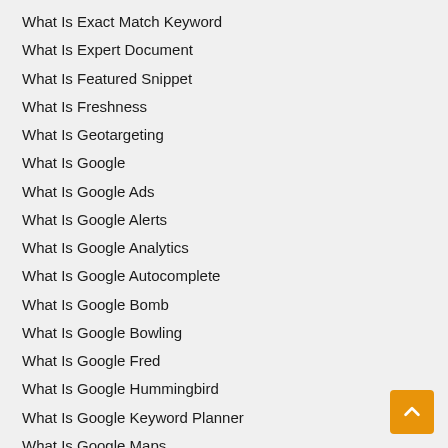What Is Exact Match Keyword
What Is Expert Document
What Is Featured Snippet
What Is Freshness
What Is Geotargeting
What Is Google
What Is Google Ads
What Is Google Alerts
What Is Google Analytics
What Is Google Autocomplete
What Is Google Bomb
What Is Google Bowling
What Is Google Fred
What Is Google Hummingbird
What Is Google Keyword Planner
What Is Google Maps
What Is Google Mobile-friendly Test
What Is Google's Mobile Friendly Update
What Is Google My Business